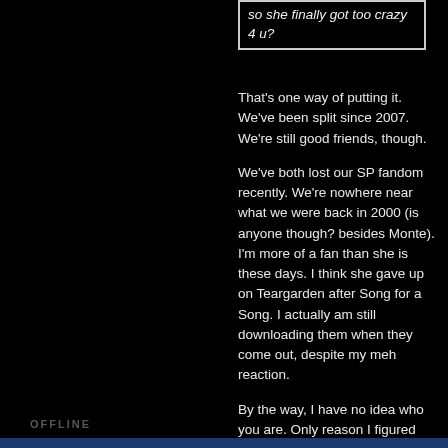so she finally got too crazy 4 u?
That's one way of putting it. We've been split since 2007. We're still good friends, though.
We've both lost our SP fandom recently. We're nowhere near what we were back in 2000 (is anyone though? besides Monte). I'm more of a fan than she is these days. I think she gave up on Teargarden after Song for a Song. I actually am still downloading them when they come out, despite my meh reaction.
By the way, I have no idea who you are. Only reason I figured you'd know me is because you recognized Mandy's name. That fact alone has my guess narrowed down to two people (Brendan or ******).
OFFLINE